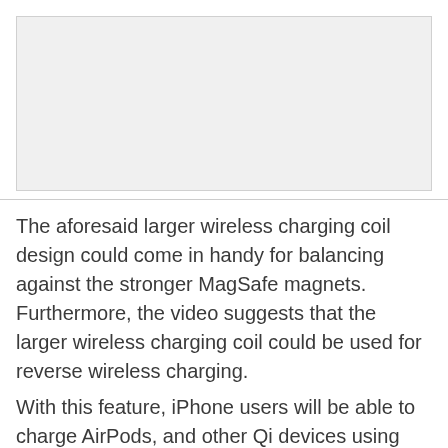[Figure (photo): Light gray placeholder image area at the top of the page]
The aforesaid larger wireless charging coil design could come in handy for balancing against the stronger MagSafe magnets. Furthermore, the video suggests that the larger wireless charging coil could be used for reverse wireless charging.
With this feature, iPhone users will be able to charge AirPods, and other Qi devices using